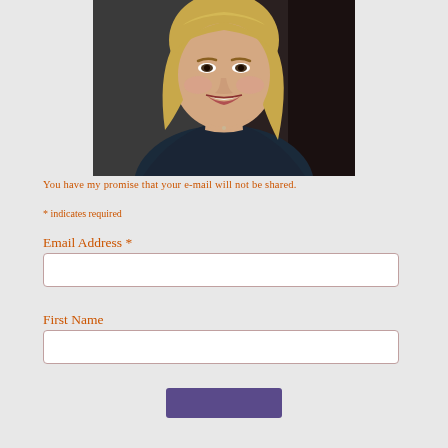[Figure (photo): Portrait photo of a smiling blonde woman with a bob haircut, wearing a dark top, photographed outdoors with a blurred dark background.]
You have my promise that your e-mail will not be shared.
* indicates required
Email Address *
First Name